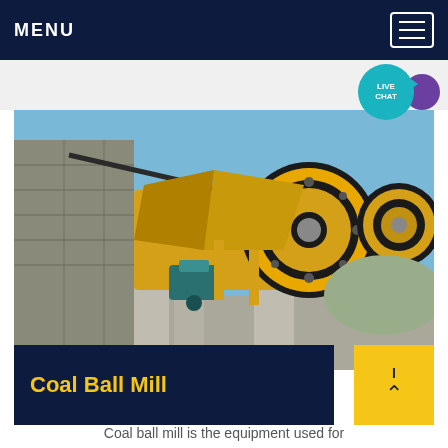MENU
[Figure (photo): Industrial jaw crusher / coal ball mill machine, large yellow heavy machinery mounted on concrete pillars outdoors, with a stone wall on the left and blue sky in the background.]
Coal Ball Mill
Coal ball mill is the equipment used for